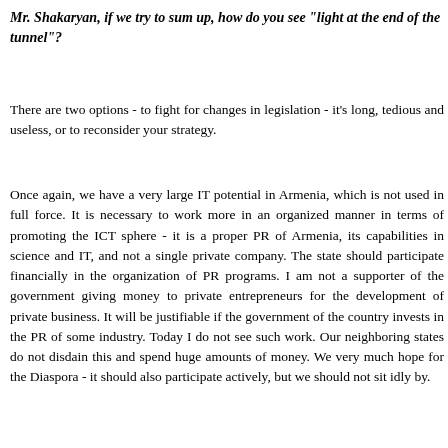Mr. Shakaryan, if we try to sum up, how do you see "light at the end of the tunnel"?
There are two options - to fight for changes in legislation - it's long, tedious and useless, or to reconsider your strategy.
Once again, we have a very large IT potential in Armenia, which is not used in full force. It is necessary to work more in an organized manner in terms of promoting the ICT sphere - it is a proper PR of Armenia, its capabilities in science and IT, and not a single private company. The state should participate financially in the organization of PR programs. I am not a supporter of the government giving money to private entrepreneurs for the development of private business. It will be justifiable if the government of the country invests in the PR of some industry. Today I do not see such work. Our neighboring states do not disdain this and spend huge amounts of money. We very much hope for the Diaspora - it should also participate actively, but we should not sit idly by.